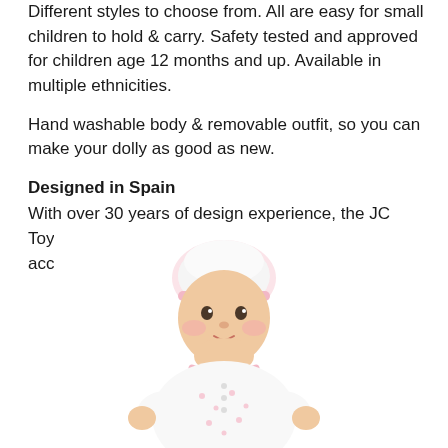Different styles to choose from. All are easy for small children to hold & carry. Safety tested and approved for children age 12 months and up. Available in multiple ethnicities.
Hand washable body & removable outfit, so you can make your dolly as good as new.
Designed in Spain
With over 30 years of design experience, the JC Toys produces only the highest quality dolls and accessories.
[Figure (photo): A baby doll wearing a white outfit with pink floral print and a pink-trimmed white hat, posed in a sitting position against a white background.]